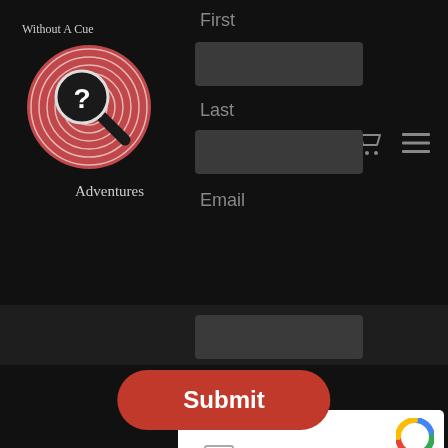[Figure (logo): Without A Cue Adventures logo: circular badge with fingerprint pattern and magnifying glass with question mark, red and white illustration]
First
Last
Email
CAPTCHA
[Figure (screenshot): reCAPTCHA widget with checkbox and 'I'm not a robot' text, reCAPTCHA branding with Privacy and Terms links]
Submit